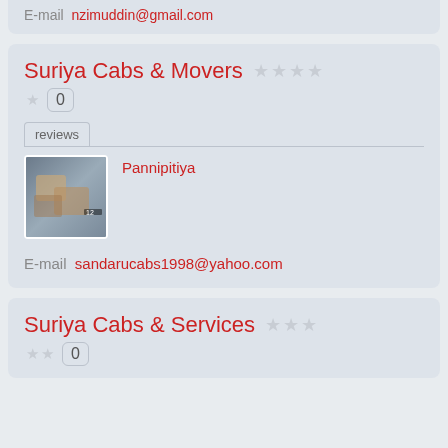E-mail: nzimuddin@gmail.com
Suriya Cabs & Movers
0 reviews
Pannipitiya
E-mail sandarucabs1998@yahoo.com
Suriya Cabs & Services
0 reviews